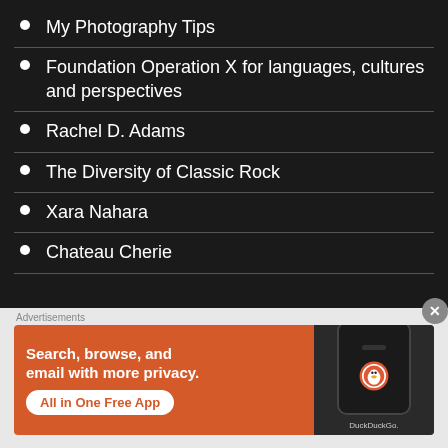My Photography Tips
Foundation Operation X for languages, cultures and perspectives
Rachel D. Adams
The Diversity of Classic Rock
Xara Nahara
Chateau Cherie
[Figure (screenshot): DuckDuckGo advertisement banner: orange background with text 'Search, browse, and email with more privacy. All in One Free App' and DuckDuckGo logo on a phone mockup]